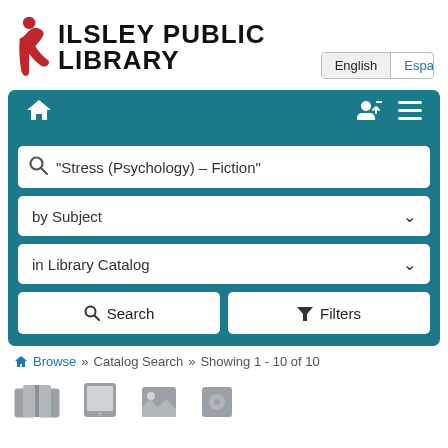[Figure (logo): Ilsley Public Library logo: red stylized person figure forming the letter i, followed by bold black text 'ILSLEY PUBLIC LIBRARY']
English  Español
[Figure (screenshot): Navigation bar with home icon on left, login and hamburger menu icons on right, teal/dark cyan background]
"Stress (Psychology) – Fiction"
by Subject
in Library Catalog
Search   Filters
Browse » Catalog Search » Showing 1 - 10 of 10
[Figure (illustration): Bottom row of library catalog item type icons: book, e-reader/tablet, image, audio/other icons partially visible]